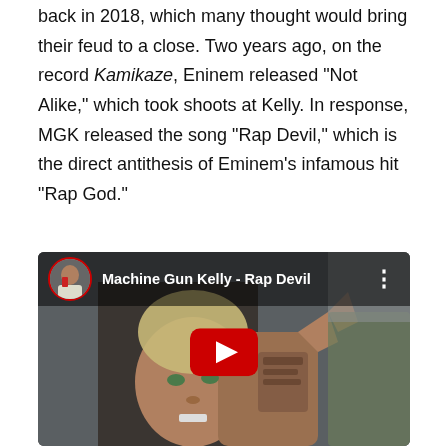back in 2018, which many thought would bring their feud to a close. Two years ago, on the record Kamikaze, Eninem released "Not Alike," which took shoots at Kelly. In response, MGK released the song "Rap Devil," which is the direct antithesis of Eminem's infamous hit "Rap God."
[Figure (screenshot): Embedded YouTube video player showing Machine Gun Kelly - Rap Devil. The thumbnail shows a close-up of Machine Gun Kelly with hand gestures and tattoos visible. The video player has a dark top bar with a circular avatar, the video title 'Machine Gun Kelly - Rap Devil', a three-dot menu icon, and a red YouTube play button centered over the thumbnail.]